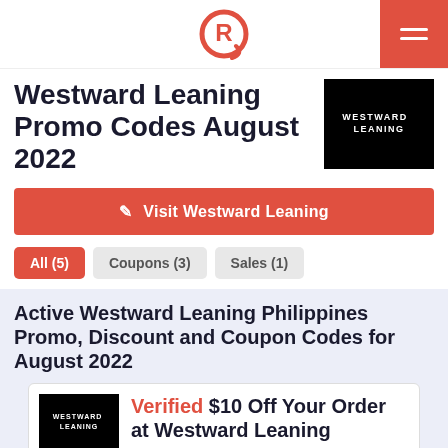Rappler logo and navigation menu
Westward Leaning Promo Codes August 2022
[Figure (logo): Westward Leaning brand logo - white text on black background]
Visit Westward Leaning
All (5)
Coupons (3)
Sales (1)
Active Westward Leaning Philippines Promo, Discount and Coupon Codes for August 2022
[Figure (logo): Westward Leaning brand logo thumbnail - white text on black background]
Verified $10 Off Your Order at Westward Leaning